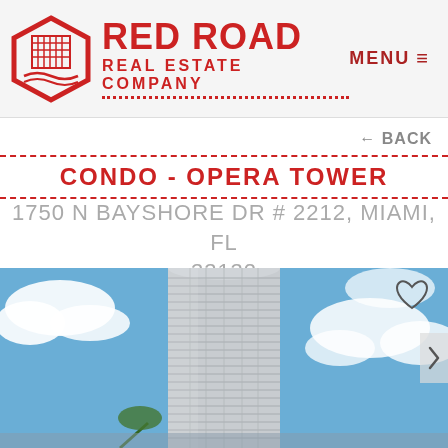[Figure (logo): Red Road Real Estate Company logo with red hexagonal building icon and company name in red bold text]
MENU ≡
← BACK
CONDO - OPERA TOWER
1750 N BAYSHORE DR # 2212, MIAMI, FL 33132
[Figure (photo): Exterior photo of Opera Tower, a tall cylindrical glass and concrete high-rise condominium building shot from ground level against a blue sky with clouds]